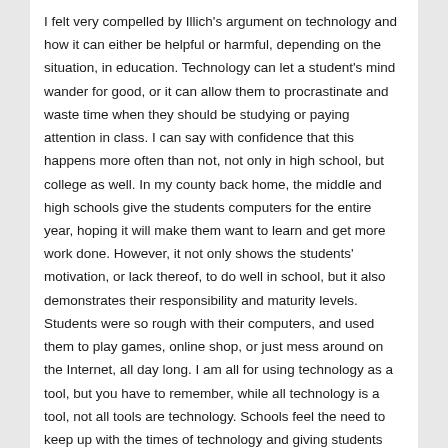I felt very compelled by Illich's argument on technology and how it can either be helpful or harmful, depending on the situation, in education. Technology can let a student's mind wander for good, or it can allow them to procrastinate and waste time when they should be studying or paying attention in class. I can say with confidence that this happens more often than not, not only in high school, but college as well. In my county back home, the middle and high schools give the students computers for the entire year, hoping it will make them want to learn and get more work done. However, it not only shows the students' motivation, or lack thereof, to do well in school, but it also demonstrates their responsibility and maturity levels. Students were so rough with their computers, and used them to play games, online shop, or just mess around on the Internet, all day long. I am all for using technology as a tool, but you have to remember, while all technology is a tool, not all tools are technology. Schools feel the need to keep up with the times of technology and giving students pieces of equipment that cost thousands of dollars, but is it really worth it? When I